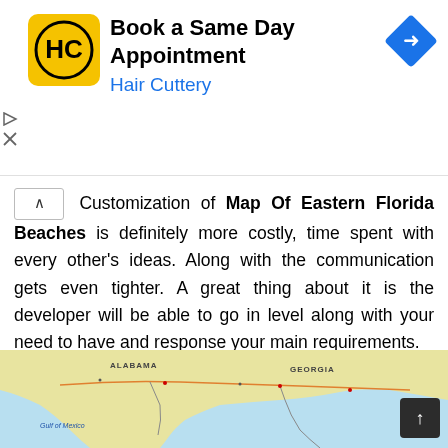[Figure (screenshot): Advertisement banner for Hair Cuttery showing logo, 'Book a Same Day Appointment' text, blue 'Hair Cuttery' subtitle, and a blue navigation arrow diamond icon on the right.]
Customization of Map Of Eastern Florida Beaches is definitely more costly, time spent with every other's ideas. Along with the communication gets even tighter. A great thing about it is the developer will be able to go in level along with your need to have and response your main requirements.
[Figure (map): Map of Eastern Florida showing Alabama, Georgia, Gulf of Mexico, and Florida panhandle/peninsula with roads, cities, and coastal details.]